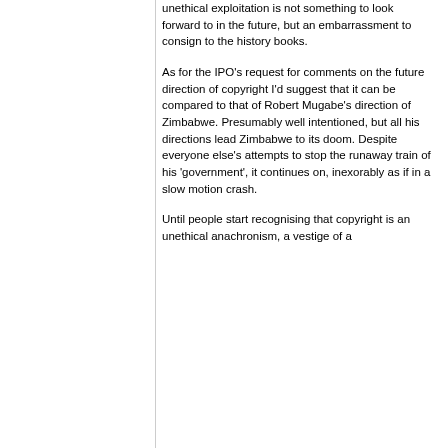unethical exploitation is not something to look forward to in the future, but an embarrassment to consign to the history books.
As for the IPO's request for comments on the future direction of copyright I'd suggest that it can be compared to that of Robert Mugabe's direction of Zimbabwe. Presumably well intentioned, but all his directions lead Zimbabwe to its doom. Despite everyone else's attempts to stop the runaway train of his 'government', it continues on, inexorably as if in a slow motion crash.
Until people start recognising that copyright is an unethical anachronism, a vestige of a